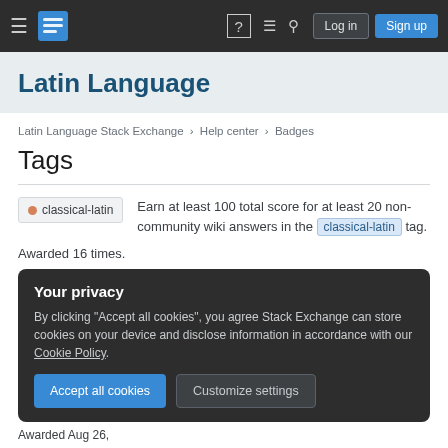Latin Language Stack Exchange navigation bar with Log in and Sign up buttons
Latin Language
Latin Language Stack Exchange › Help center › Badges
Tags
classical-latin — Earn at least 100 total score for at least 20 non-community wiki answers in the classical-latin tag.
Awarded 16 times.
Your privacy — By clicking "Accept all cookies", you agree Stack Exchange can store cookies on your device and disclose information in accordance with our Cookie Policy.
Awarded Aug 26,